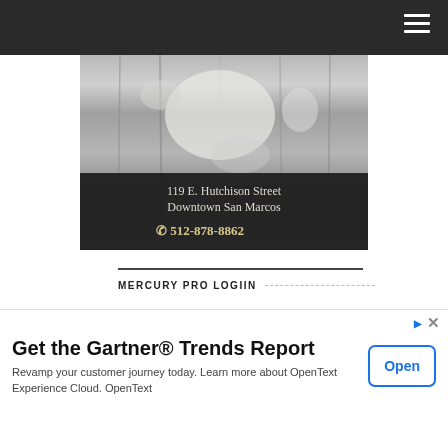[Figure (screenshot): Business banner image with weathered wood texture background showing address '119 E. Hutchison Street Downtown San Marcos' and phone '512-878-8862' in a dark overlay]
MERCURY PRO LOGIIN
Username
Get the Gartner® Trends Report
Revamp your customer journey today. Learn more about OpenText Experience Cloud. OpenText